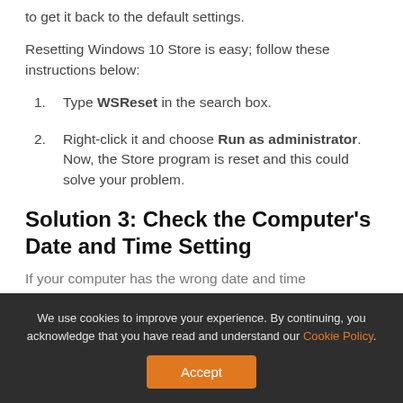to get it back to the default settings.
Resetting Windows 10 Store is easy; follow these instructions below:
Type WSReset in the search box.
Right-click it and choose Run as administrator. Now, the Store program is reset and this could solve your problem.
Solution 3: Check the Computer's Date and Time Setting
If your computer has the wrong date and time
We use cookies to improve your experience. By continuing, you acknowledge that you have read and understand our Cookie Policy.